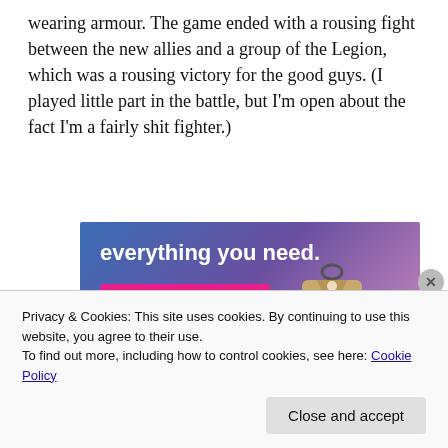wearing armour. The game ended with a rousing fight between the new allies and a group of the Legion, which was a rousing victory for the good guys. (I played little part in the battle, but I'm open about the fact I'm a fairly shit fighter.)
[Figure (screenshot): Website advertisement banner with purple-blue gradient background showing 'everything you need.' headline and a 'Build Your Website' pink button, with a luggage tag image on the right side.]
Privacy & Cookies: This site uses cookies. By continuing to use this website, you agree to their use.
To find out more, including how to control cookies, see here: Cookie Policy
Close and accept